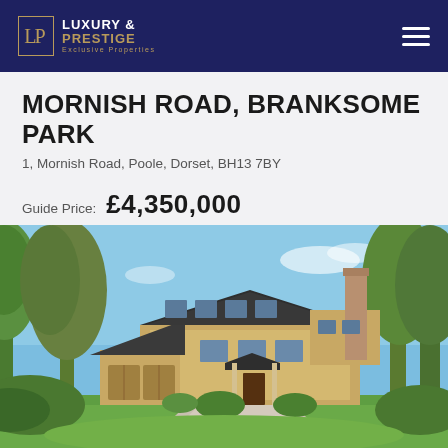[Figure (logo): Luxury & Prestige Exclusive Properties logo with gold LP monogram on navy background, hamburger menu icon on right]
MORNISH ROAD, BRANKSOME PARK
1, Mornish Road, Poole, Dorset, BH13 7BY
Guide Price:  £4,350,000
[Figure (photo): Exterior photograph of a large modern luxury house with dark roof, stone/brick facade, tall chimney, double garage, surrounded by mature trees and manicured lawn under blue sky]